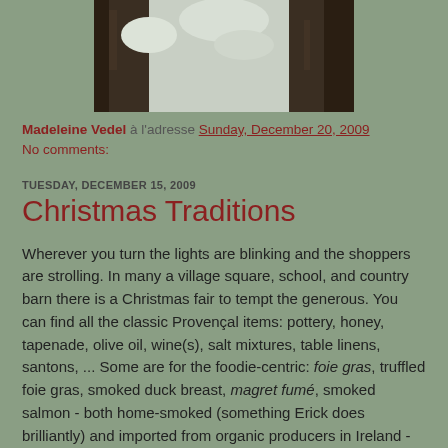[Figure (photo): Photo of snow-covered tree bark or branches, partially visible, top portion of a blog post image]
Madeleine Vedel à l'adresse Sunday, December 20, 2009
No comments:
TUESDAY, DECEMBER 15, 2009
Christmas Traditions
Wherever you turn the lights are blinking and the shoppers are strolling. In many a village square, school, and country barn there is a Christmas fair to tempt the generous. You can find all the classic Provençal items: pottery, honey, tapenade, olive oil, wine(s), salt mixtures, table linens, santons, ... Some are for the foodie-centric: foie gras, truffled foie gras, smoked duck breast, magret fumé, smoked salmon - both home-smoked (something Erick does brilliantly) and imported from organic producers in Ireland - eaux de vie flavored with pears, raspberries and more, vins de noix et